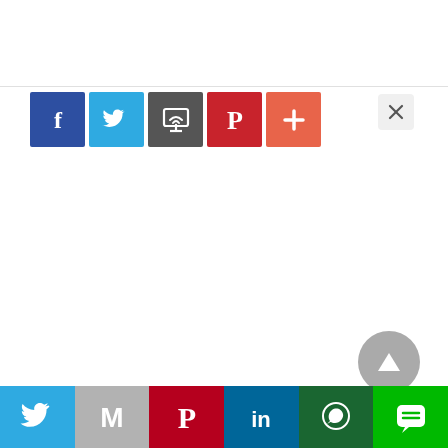[Figure (screenshot): Social media share buttons toolbar at top: Facebook (blue), Twitter (light blue), Email (dark gray), Pinterest (red), More/Plus (salmon/orange-red), with an X close button on the right side]
[Figure (screenshot): Scroll-to-top button: circular gray button with white upward triangle arrow, positioned bottom-right]
[Figure (screenshot): Bottom social share bar with six buttons: Twitter (blue), Gmail/Google (gray M), Pinterest (dark red), LinkedIn (dark blue), WhatsApp (dark green), LINE (green)]